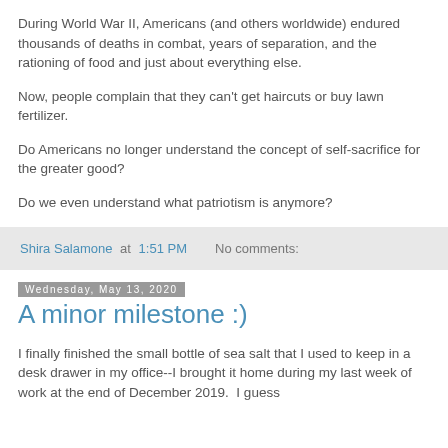During World War II, Americans (and others worldwide) endured thousands of deaths in combat, years of separation, and the rationing of food and just about everything else.
Now, people complain that they can't get haircuts or buy lawn fertilizer.
Do Americans no longer understand the concept of self-sacrifice for the greater good?
Do we even understand what patriotism is anymore?
Shira Salamone at 1:51 PM   No comments:
Wednesday, May 13, 2020
A minor milestone :)
I finally finished the small bottle of sea salt that I used to keep in a desk drawer in my office--I brought it home during my last week of work at the end of December 2019.  I guess